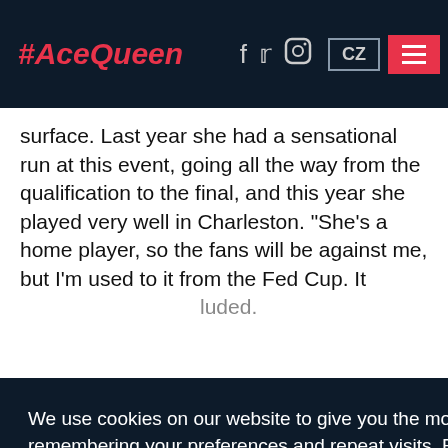#AceQueen
surface. Last year she had a sensational run at this event, going all the way from the qualification to the final, and this year she played very well in Charleston. “She’s a home player, so the fans will be against me, but I’m used to it from the Fed Cup. It …uded.
We use cookies on our website to give you the most relevant experience by remembering your preferences and repeat visits. By clicking “Accept All”, you consent to the use of ALL the cookies. However, you may visit “Cookie Settings” to provide a controlled consent.
Settings   ACCEPT ALL
…ště dnes se můžete zapojit do soutěže s O2 TV Sport o mou podepsanou